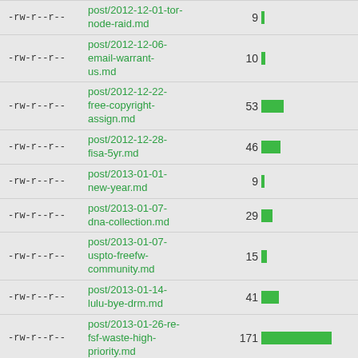[Figure (bar-chart): File listing with sizes]